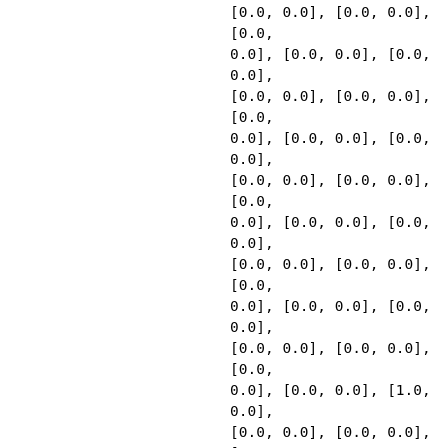[...], [...], [...], [...], [0.0, 0.0], [0.0, 0.0], [0.0, 0.0], [0.0, 0.0], [0.0, 0.0], [0.0, 0.0], [0.0, 0.0], [0.0, 0.0], [0.0, 0.0], [0.0, 0.0], [0.0, 0.0], [0.0, 0.0], [0.0, 0.0], [0.0, 0.0], [0.0, 0.0], [0.0, 0.0], [0.0, 0.0], [0.0, 0.0], [0.0, 0.0], [0.0, 0.0], [0.0, 0.0], [0.0, 0.0], [0.0, 0.0], [1.0, 0.0], [0.0, 0.0], [0.0, 0.0], [0.0, 0.0], [0.0, 0.0], [0.0, 0.0], [0.0, 0.0], [0.0, 0.0], [0.0, 0.0], [0.0, 0.0], [0.0, 0.0], [0.0, 0.0], [-1.0, -1.0], [0.0, 0.0], [1.0, -1.0], [0.0, 0.0], [0.0, 0.0], [0.0, 0.0], [0.0, 0.0], [0.0, 0.0], [1.0, -1.0], [0.0, 0.0], [0.0, 0.0], [0.0, 0.0], [0.0, 0.0], [0.0, 0.0], [0.0, 0.0], [0.0, 0.0], [0.0, 0.0], [0.0, 0.0], [0.0, ...